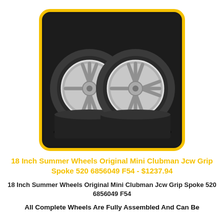[Figure (photo): Two silver alloy wheels with tires displayed against a dark background, shown from the front, with yellow rounded border frame]
18 Inch Summer Wheels Original Mini Clubman Jcw Grip Spoke 520 6856049 F54 - $1237.94
18 Inch Summer Wheels Original Mini Clubman Jcw Grip Spoke 520 6856049 F54
All Complete Wheels Are Fully Assembled And Can Be